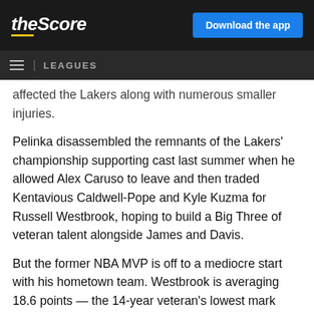theScore | Download the app
LEAGUES
affected the Lakers along with numerous smaller injuries.
Pelinka disassembled the remnants of the Lakers' championship supporting cast last summer when he allowed Alex Caruso to leave and then traded Kentavious Caldwell-Pope and Kyle Kuzma for Russell Westbrook, hoping to build a Big Three of veteran talent alongside James and Davis.
But the former NBA MVP is off to a mediocre start with his hometown team. Westbrook is averaging 18.6 points — the 14-year veteran's lowest mark since his second NBA season — and is third in the NBA with 4.3 turnovers per game, an incredible number coming at